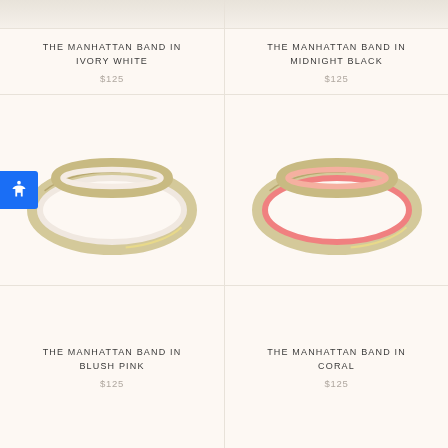THE MANHATTAN BAND IN IVORY WHITE
$125
THE MANHATTAN BAND IN MIDNIGHT BLACK
$125
[Figure (photo): Gold ring with ivory/blush white enamel band, viewed at an angle]
[Figure (photo): Gold ring with coral/pink enamel band, viewed at an angle]
THE MANHATTAN BAND IN BLUSH PINK
$125
THE MANHATTAN BAND IN CORAL
$125